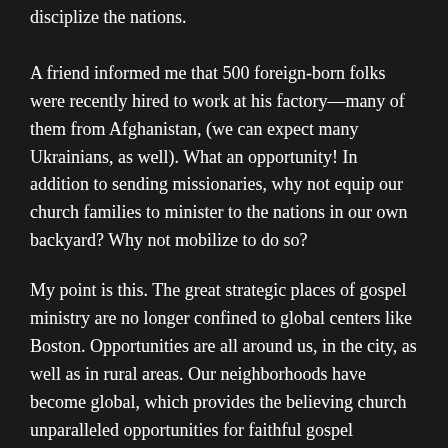disciplize the nations.
A friend informed me that 500 foreign-born folks were recently hired to work at his factory—many of them from Afghanistan, (we can expect many Ukrainians, as well). What an opportunity!  In addition to sending missionaries, why not equip our church families to minister to the nations in our own backyard?  Why not mobilize to do so?
My point is this.  The great strategic places of gospel ministry are no longer confined to global centers like Boston. Opportunities are all around us, in the city, as well as in rural areas. Our neighborhoods have become global, which provides the believing church unparalleled opportunities for faithful gospel proclamation.
What does faithfulness demand of those of us living in the Heartland?